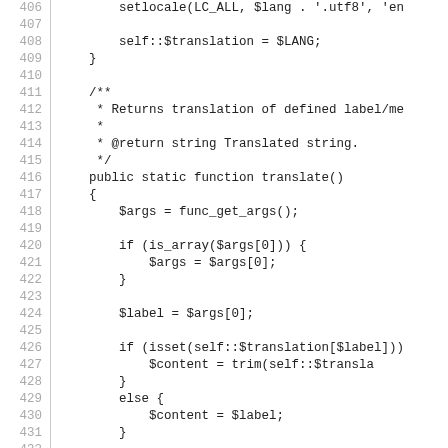Code listing lines 406-435, PHP source code showing setlocale, translation, and translate() function